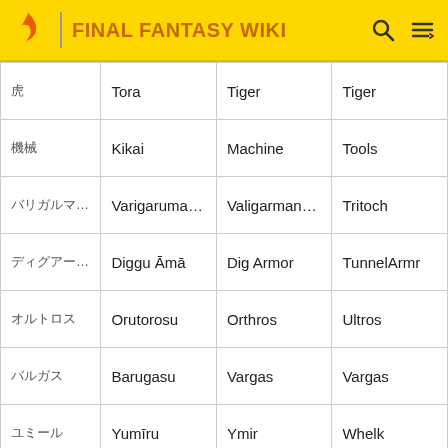FINAL FANTASY WIKI
| Japanese | Romaji | GBA/PSP | SNES |
| --- | --- | --- | --- |
| 虎 | Tora | Tiger | Tiger |
| 機械 | Kikai | Machine | Tools |
| バリガルマンダ | Varigarumanda | Valigarmander | Tritoch |
| ディグアーマー | Diggu Āmā | Dig Armor | TunnelArmr |
| オルトロス | Orutorosu | Orthros | Ultros |
| バルガス | Barugasu | Vargas | Vargas |
| ユミール | Yumīru | Ymir | Whelk |
| ホーリードラゴン | Hōrī Doragon | Holy Dragon | White Drgn |
| アレクソウル | Arekusouru | Alexsoul | Wrexsoul |
| ユキオトコ | Yuki Otoko | Yeti | Umaro |